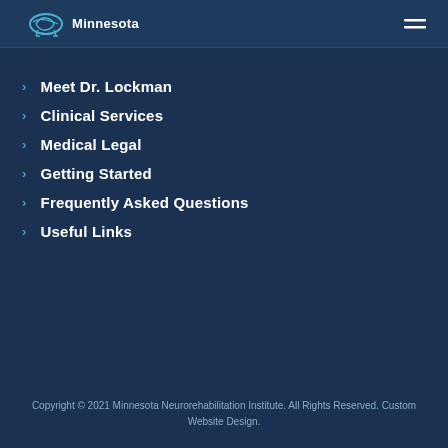Minnesota
Meet Dr. Lockman
Clinical Services
Medical Legal
Getting Started
Frequently Asked Questions
Useful Links
Copyright © 2021 Minnesota Neurorehabilitation Institute. All Rights Reserved. Custom Website Design.